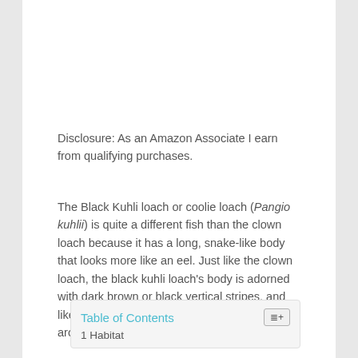Disclosure: As an Amazon Associate I earn from qualifying purchases.
The Black Kuhli loach or coolie loach (Pangio kuhlii) is quite a different fish than the clown loach because it has a long, snake-like body that looks more like an eel. Just like the clown loach, the black kuhli loach's body is adorned with dark brown or black vertical stripes, and like the clown loach, this fish has barbels around the mouth.
| Table of Contents |
| --- |
| 1 Habitat |